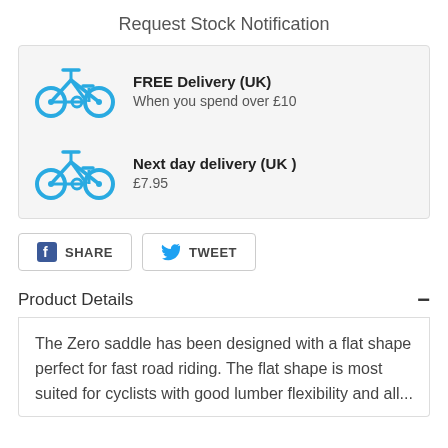Request Stock Notification
FREE Delivery (UK)
When you spend over £10
Next day delivery (UK)
£7.95
SHARE
TWEET
Product Details
The Zero saddle has been designed with a flat shape perfect for fast road riding. The flat shape is most suited for cyclists with good lumber flexibility and all...